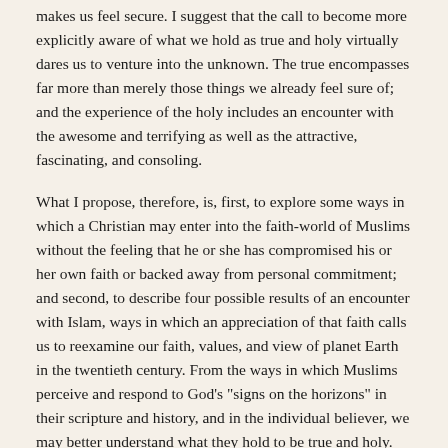makes us feel secure. I suggest that the call to become more explicitly aware of what we hold as true and holy virtually dares us to venture into the unknown. The true encompasses far more than merely those things we already feel sure of; and the experience of the holy includes an encounter with the awesome and terrifying as well as the attractive, fascinating, and consoling.
What I propose, therefore, is, first, to explore some ways in which a Christian may enter into the faith-world of Muslims without the feeling that he or she has compromised his or her own faith or backed away from personal commitment; and second, to describe four possible results of an encounter with Islam, ways in which an appreciation of that faith calls us to reexamine our faith, values, and view of planet Earth in the twentieth century. From the ways in which Muslims perceive and respond to God's "signs on the horizons" in their scripture and history, and in the individual believer, we may better understand what they hold to be true and holy. Those very perceptions and responses in turn pose for Christians a challenge, a risk, a source of encouragement, and an invitation to enlarge our perspective.